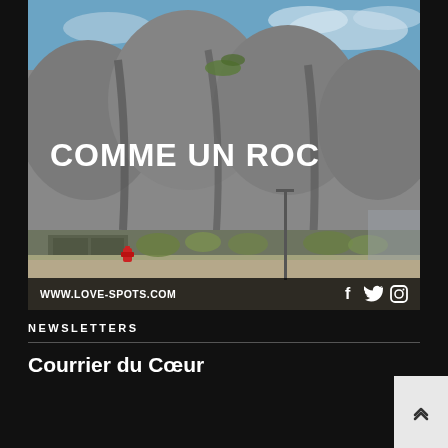SORTIES
[Figure (photo): Photograph of a large rock-textured building facade under blue sky, with landscaping and a red fire hydrant in the foreground. Text overlay 'COMME UN ROC' in bold white capitals on the lower left of the image. Bottom bar shows 'WWW.LOVE-SPOTS.COM' and social media icons (Facebook, Twitter, Instagram).]
NEWSLETTERS
Courrier du Cœur